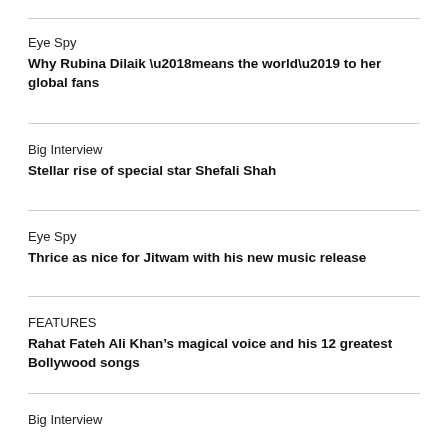Eye Spy
Why Rubina Dilaik ‘means the world’ to her global fans
Big Interview
Stellar rise of special star Shefali Shah
Eye Spy
Thrice as nice for Jitwam with his new music release
FEATURES
Rahat Fateh Ali Khan’s magical voice and his 12 greatest Bollywood songs
Big Interview